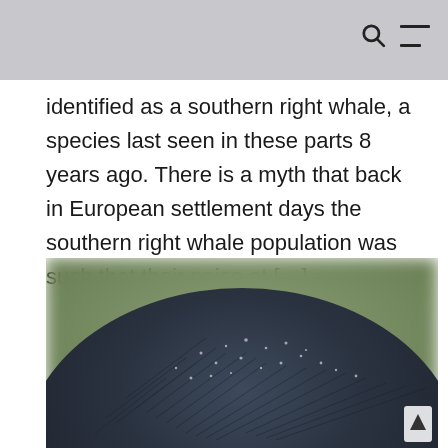identified as a southern right whale, a species last seen in these parts 8 years ago. There is a myth that back in European settlement days the southern right whale population was such that their noise at […]
[Figure (photo): Close-up photograph of a dark-feathered bird's back/head, showing dark blue-black plumage with white speckles, against a blurred green background. A scroll-up arrow is visible in the bottom right corner.]